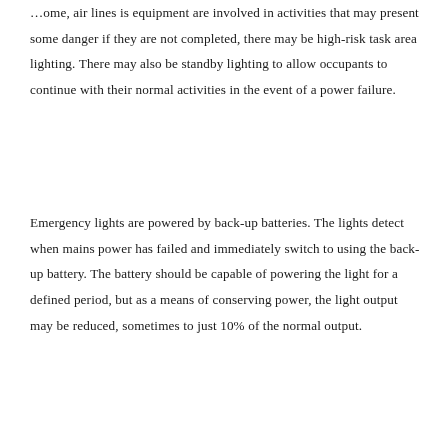…ome, air lines is equipment are involved in activities that may present some danger if they are not completed, there may be high-risk task area lighting. There may also be standby lighting to allow occupants to continue with their normal activities in the event of a power failure.
Emergency lights are powered by back-up batteries. The lights detect when mains power has failed and immediately switch to using the back-up battery. The battery should be capable of powering the light for a defined period, but as a means of conserving power, the light output may be reduced, sometimes to just 10% of the normal output.